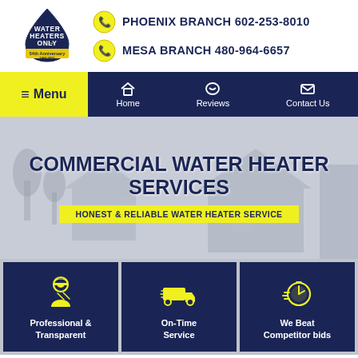[Figure (logo): Water Heaters Only Inc logo - water drop shape with text and 54th Anniversary ribbon]
PHOENIX BRANCH 602-253-8010
MESA BRANCH 480-964-6657
≡ Menu
Home
Reviews
Contact Us
COMMERCIAL WATER HEATER SERVICES
HONEST & RELIABLE WATER HEATER SERVICE
Professional & Transparent
On-Time Service
We Beat Competitor bids